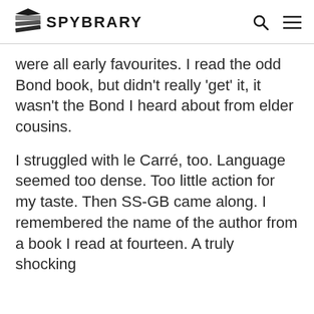SPYBRARY
were all early favourites. I read the odd Bond book, but didn't really 'get' it, it wasn't the Bond I heard about from elder cousins.
I struggled with le Carré, too. Language seemed too dense. Too little action for my taste. Then SS-GB came along. I remembered the name of the author from a book I read at fourteen. A truly shocking